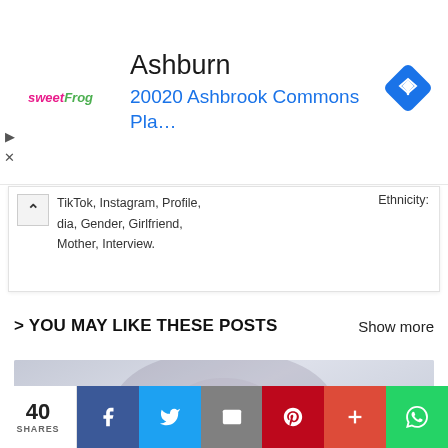[Figure (infographic): Advertisement banner for sweetFrog showing location in Ashburn at 20020 Ashbrook Commons Pla... with navigation icon]
TikTok, Instagram, Profile, dia, Gender, Girlfriend, Mother, Interview.
Ethnicity:
> YOU MAY LIKE THESE POSTS
Show more
[Figure (photo): Faded/washed out photo of a woman's face]
40 SHARES | Facebook | Twitter | Email | Pinterest | Plus | WhatsApp